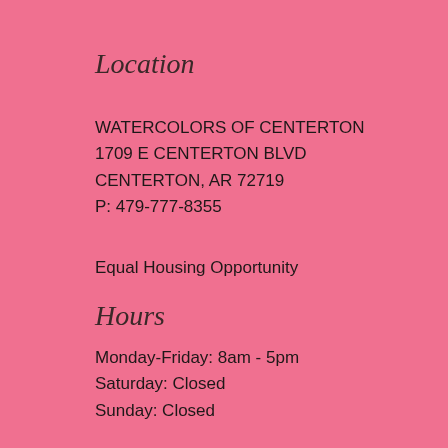Location
WATERCOLORS OF CENTERTON
1709 E CENTERTON BLVD
CENTERTON, AR 72719
P: 479-777-8355
Equal Housing Opportunity
Hours
Monday-Friday: 8am - 5pm
Saturday: Closed
Sunday: Closed
Extras
Site Map